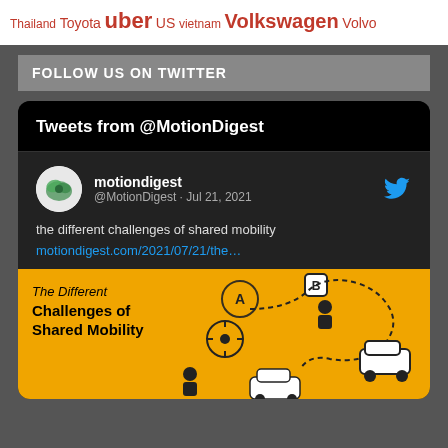Thailand Toyota uber US Vietnam Volkswagen Volvo
FOLLOW US ON TWITTER
Tweets from @MotionDigest
[Figure (screenshot): Tweet from @MotionDigest dated Jul 21, 2021 about 'the different challenges of shared mobility' with link motiondigest.com/2021/07/21/the… and an infographic image showing 'The Different Challenges of Shared Mobility' on a yellow background with shared mobility icons.]